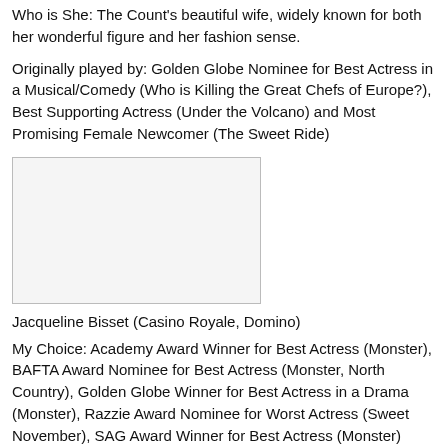Who is She: The Count's beautiful wife, widely known for both her wonderful figure and her fashion sense.
Originally played by: Golden Globe Nominee for Best Actress in a Musical/Comedy (Who is Killing the Great Chefs of Europe?), Best Supporting Actress (Under the Volcano) and Most Promising Female Newcomer (The Sweet Ride)
[Figure (photo): A blank/white placeholder image box]
Jacqueline Bisset (Casino Royale, Domino)
My Choice: Academy Award Winner for Best Actress (Monster), BAFTA Award Nominee for Best Actress (Monster, North Country), Golden Globe Winner for Best Actress in a Drama (Monster), Razzie Award Nominee for Worst Actress (Sweet November), SAG Award Winner for Best Actress (Monster)